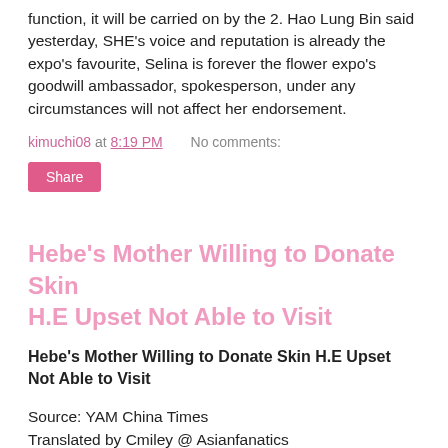function, it will be carried on by the 2. Hao Lung Bin said yesterday, SHE's voice and reputation is already the expo's favourite, Selina is forever the flower expo's goodwill ambassador, spokesperson, under any circumstances will not affect her endorsement.
kimuchi08 at 8:19 PM   No comments:
Share
Hebe's Mother Willing to Donate Skin H.E Upset Not Able to Visit
Hebe's Mother Willing to Donate Skin H.E Upset Not Able to Visit
Source: YAM China Times
Translated by Cmiley @ Asianfanatics
Hebe's mother Tien Ma treats Selina as if it was hers, on her blog she said: "I'm willing to donate my skin to Yuan Yuan to